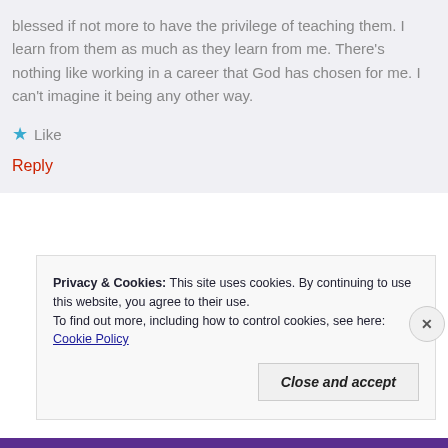blessed if not more to have the privilege of teaching them. I learn from them as much as they learn from me. There's nothing like working in a career that God has chosen for me. I can't imagine it being any other way.
★ Like
Reply
Privacy & Cookies: This site uses cookies. By continuing to use this website, you agree to their use.
To find out more, including how to control cookies, see here: Cookie Policy
Close and accept